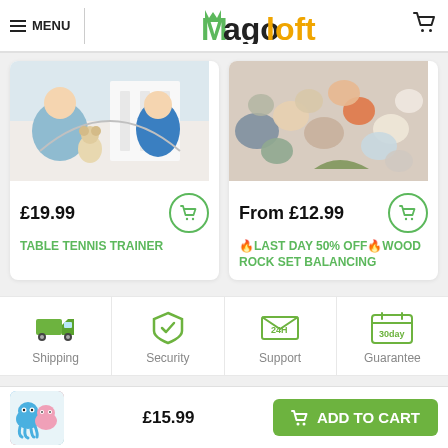[Figure (screenshot): Magoloft e-commerce website header with menu, logo, and cart icon]
[Figure (photo): Table Tennis Trainer product image – child playing with table tennis trainer]
£19.99
TABLE TENNIS TRAINER
[Figure (photo): Wood Rock Set Balancing product image – colorful wooden balancing rocks]
From £12.99
🔥LAST DAY 50% OFF🔥WOOD ROCK SET BALANCING
[Figure (infographic): Trust bar with four icons: Shipping (truck), Security (shield), Support (24H envelope), Guarantee (30day calendar)]
[Figure (photo): Bottom bar product thumbnail – reversible octopus plush toy]
£15.99
ADD TO CART